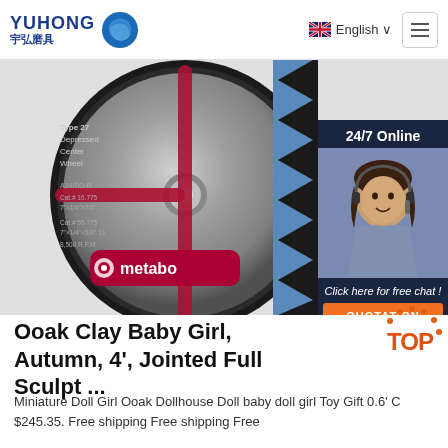YUHONG 宇弘磨具 | English | Menu
[Figure (photo): Metabo Type 27 Depressed Center Wheel grinding disc product photo with a customer service representative overlay showing '24/7 Online', 'Click here for free chat!' and 'QUOTATION' button]
Ooak Clay Baby Girl, Autumn, 4', Jointed Full Sculpt ...
Miniature Doll Girl Ooak Dollhouse Doll baby doll girl Toy Gift 0.6' C $245.35. Free shipping Free shipping Free